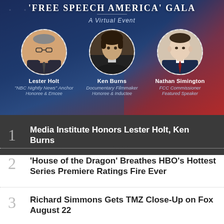[Figure (photo): Free Speech America Gala event banner with three speaker portraits on dark blue background with American flag imagery. Speakers: Lester Holt (NBC Nightly News Anchor), Ken Burns (Documentary Filmmaker), Nathan Simington (FCC Commissioner).]
1 Media Institute Honors Lester Holt, Ken Burns
2 'House of the Dragon' Breathes HBO's Hottest Series Premiere Ratings Fire Ever
3 Richard Simmons Gets TMZ Close-Up on Fox August 22